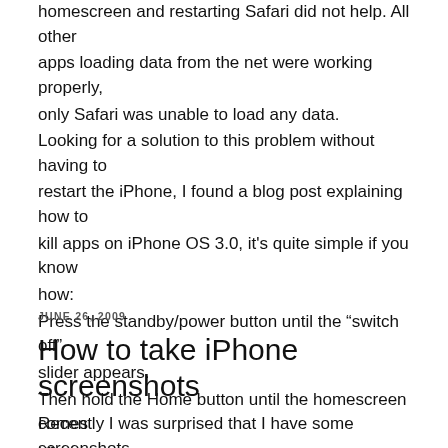homescreen and restarting Safari did not help. All other apps loading data from the net were working properly, only Safari was unable to load any data. Looking for a solution to this problem without having to restart the iPhone, I found a blog post explaining how to kill apps on iPhone OS 3.0, it's quite simple if you know how: Press the standby/power button until the “switch off” slider appears. Then hold the Home button until the homescreen comes up. That’s it. If you restart Safari now you are back where you were before it started misbehaving.
JUNE 26, 2009
How to take iPhone screenshots
Recently I was surprised that I have some screenshots